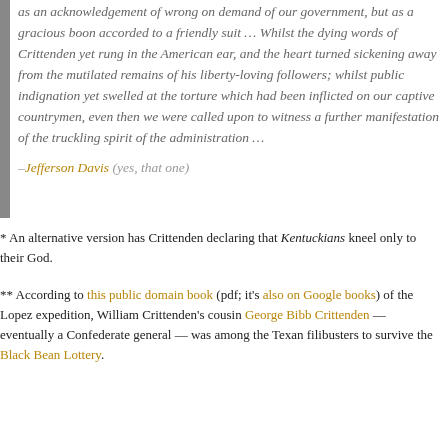as an acknowledgement of wrong on demand of our government, but as a gracious boon accorded to a friendly suit … Whilst the dying words of Crittenden yet rung in the American ear, and the heart turned sickening away from the mutilated remains of his liberty-loving followers; whilst public indignation yet swelled at the torture which had been inflicted on our captive countrymen, even then we were called upon to witness a further manifestation of the truckling spirit of the administration …
–Jefferson Davis (yes, that one)
* An alternative version has Crittenden declaring that Kentuckians kneel only to their God.
** According to this public domain book (pdf; it's also on Google books) of the Lopez expedition, William Crittenden's cousin George Bibb Crittenden — eventually a Confederate general — was among the Texan filibusters to survive the Black Bean Lottery.
William Crittenden's brother Thomas Theodore Crittenden fought on the Union side of the Civil War, and became Governor of Missouri in 1881. He's noteworthy for having issued the bounty on outlaw Jesse James that led to the latter's assassination by Robert Ford.
† Family in the president's cabinet was just no guarantee of preferential treatment, abroad or at home; just a few years before, a son of the sitting Secretary of War had been hanged at sea for mutiny.
‡ The Spanish press likewise excoriated American yellow journalism in terms that no few present-day scribes would also deserve.